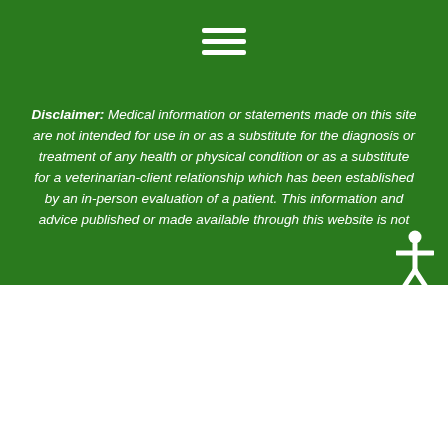[Figure (other): Hamburger menu icon (three white horizontal lines) on green background]
Disclaimer: Medical information or statements made on this site are not intended for use in or as a substitute for the diagnosis or treatment of any health or physical condition or as a substitute for a veterinarian-client relationship which has been established by an in-person evaluation of a patient. This information and advice published or made available through this website is not
[Figure (other): White accessibility icon (human figure with arms outstretched) on green background]
We use cookies on our website to give you the most relevant experience by remembering your preferences and repeat visits. By clicking “Accept”, you consent to the use of ALL the cookies.
Cookie settings
ACCEPT